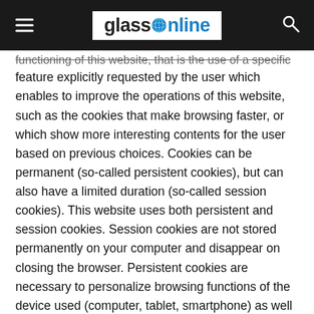glassOnline
functioning of this website, that is the use of a specific feature explicitly requested by the user which enables to improve the operations of this website, such as the cookies that make browsing faster, or which show more interesting contents for the user based on previous choices. Cookies can be permanent (so-called persistent cookies), but can also have a limited duration (so-called session cookies). This website uses both persistent and session cookies. Session cookies are not stored permanently on your computer and disappear on closing the browser. Persistent cookies are necessary to personalize browsing functions of the device used (computer, tablet, smartphone) as well as third-party cookies which are used to analyse the accesses to the website (i.e. Google Analytics) and to enable users to share the contents of the site via social networks (FB) or e-mail (Add This). These cookies are therefore recorded